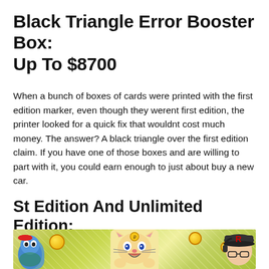Black Triangle Error Booster Box: Up To $8700
When a bunch of boxes of cards were printed with the first edition marker, even though they werent first edition, the printer looked for a quick fix that wouldnt cost much money. The answer? A black triangle over the first edition claim. If you have one of those boxes and are willing to part with it, you could earn enough to just about buy a new car.
St Edition And Unlimited Edition:
[Figure (photo): Photo showing Pokemon characters including Meowth and a person wearing a Team Rocket hat with headphones, on a yellow-green background with coins scattered around]